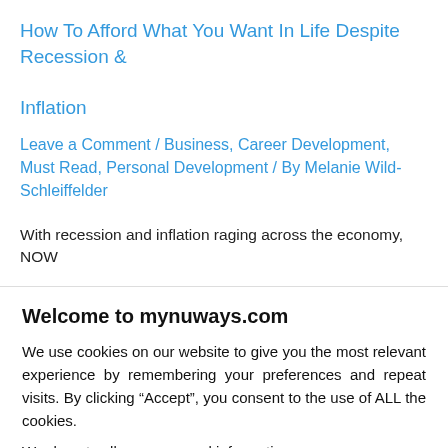How To Afford What You Want In Life Despite Recession & Inflation
Leave a Comment / Business, Career Development, Must Read, Personal Development / By Melanie Wild-Schleiffelder
With recession and inflation raging across the economy, NOW
Welcome to mynuways.com
We use cookies on our website to give you the most relevant experience by remembering your preferences and repeat visits. By clicking “Accept”, you consent to the use of ALL the cookies.
We do not sell your personal information.
Cookie settings | I accept all cookies!